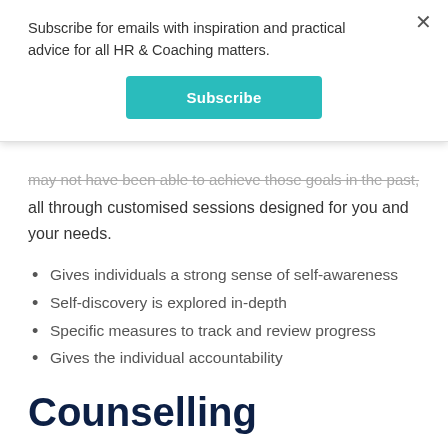Subscribe for emails with inspiration and practical advice for all HR & Coaching matters.
Subscribe
may not have been able to achieve those goals in the past, all through customised sessions designed for you and your needs.
Gives individuals a strong sense of self-awareness
Self-discovery is explored in-depth
Specific measures to track and review progress
Gives the individual accountability
Counselling